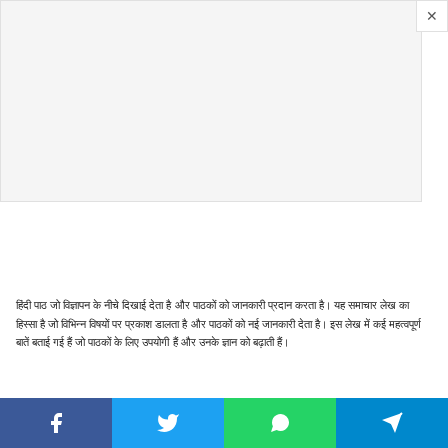[Figure (other): Advertisement banner placeholder — light gray rectangle with close button (×) in top-right corner]
हिंदी पाठ जो विज्ञापन के नीचे दिखाई देता है और पाठकों को जानकारी प्रदान करता है। यह समाचार लेख का हिस्सा है जो विभिन्न विषयों पर प्रकाश डालता है और पाठकों को नई जानकारी देता है। इस लेख में कई महत्वपूर्ण बातें बताई गई हैं जो पाठकों के लिए उपयोगी हैं और उनके ज्ञान को बढ़ाती हैं।
[Figure (infographic): Social share bar at bottom with Facebook (blue), Twitter (light blue), WhatsApp (green), and Telegram (blue) buttons with respective icons]